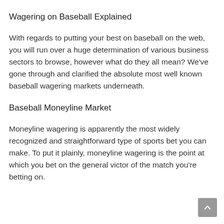Wagering on Baseball Explained
With regards to putting your best on baseball on the web, you will run over a huge determination of various business sectors to browse, however what do they all mean? We've gone through and clarified the absolute most well known baseball wagering markets underneath.
Baseball Moneyline Market
Moneyline wagering is apparently the most widely recognized and straightforward type of sports bet you can make. To put it plainly, moneyline wagering is the point at which you bet on the general victor of the match you’re betting on.